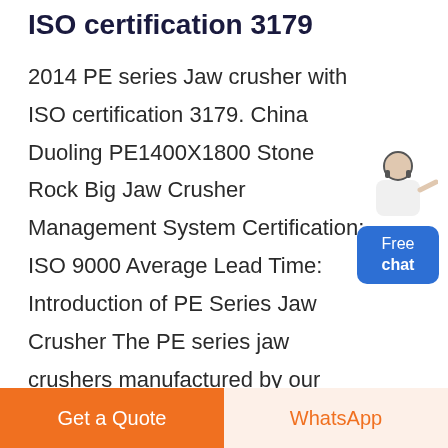ISO certification 3179
2014 PE series Jaw crusher with ISO certification 3179. China Duoling PE1400X1800 Stone Rock Big Jaw Crusher Management System Certification: ISO 9000 Average Lead Time: Introduction of PE Series Jaw Crusher The PE series jaw crushers manufactured by our company are designed for using in mines, quarries and other industrial applications, on the base of previous experience of sales at
[Figure (illustration): Chat widget with a customer service representative avatar above a blue rounded button labeled 'Free chat']
Get a Quote
WhatsApp